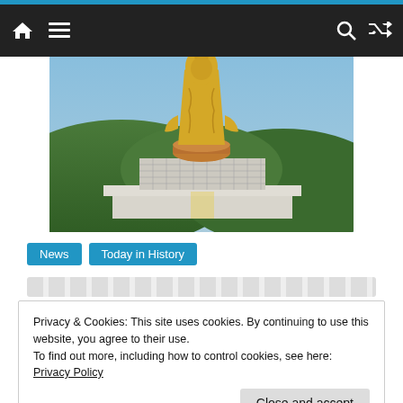Navigation bar with home, menu, search, and shuffle icons
[Figure (photo): Large golden Buddha statue standing on an ornate multi-tiered base/temple building, set against green hillside mountains and blue sky. The statue is gilded and depicting a standing Buddha figure.]
News   Today in History
Privacy & Cookies: This site uses cookies. By continuing to use this website, you agree to their use.
To find out more, including how to control cookies, see here: Privacy Policy
Close and accept
1557: Death of Jacques Cartier aged 65.